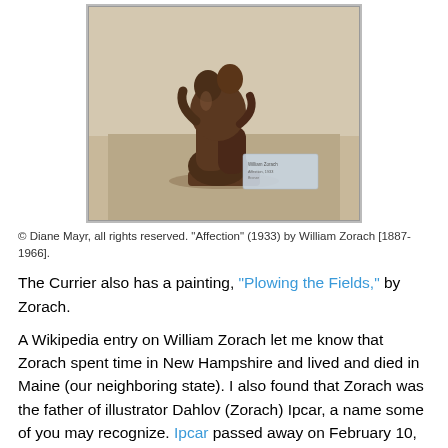[Figure (photo): Bronze sculpture 'Affection' (1933) by William Zorach, showing two figures embracing, displayed on a museum plinth with a label card visible.]
© Diane Mayr, all rights reserved. "Affection" (1933) by William Zorach [1887-1966].
The Currier also has a painting, "Plowing the Fields," by Zorach.
A Wikipedia entry on William Zorach let me know that Zorach spent time in New Hampshire and lived and died in Maine (our neighboring state). I also found that Zorach was the father of illustrator Dahlov (Zorach) Ipcar, a name some of you may recognize. Ipcar passed away on February 10, 2017, at age 99.